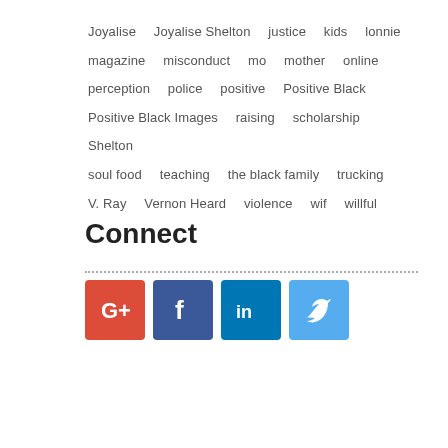Joyalise   Joyalise Shelton   justice   kids   lonnie
magazine   misconduct   mo   mother   online
perception   police   positive   Positive Black
Positive Black Images   raising   scholarship   Shelton
soul food   teaching   the black family   trucking
V. Ray   Vernon Heard   violence   wif   willful
Connect
[Figure (infographic): Social media icons: Google+, Facebook, LinkedIn, Twitter]